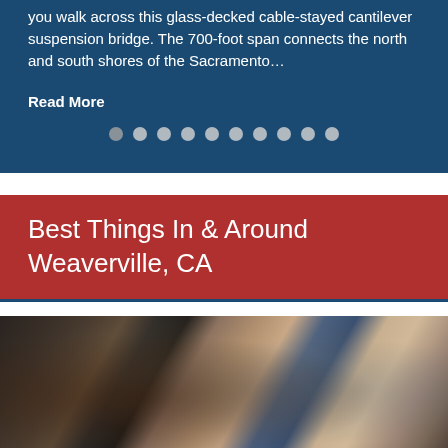you walk across this glass-decked cable-stayed cantilever suspension bridge. The 700-foot span connects the north and south shores of the Sacramento…
Read More
[Figure (other): Pagination dots row — 10 circular dots for a carousel slider, mostly light grey]
Best Things In & Around Weaverville, CA
[Figure (photo): Photo of a hair salon interior showing a stylist blow-drying a client's hair with a hairdryer, with a mirror and brick wall visible in the background]